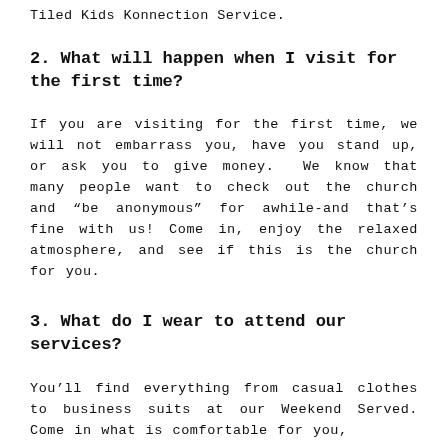Tiled Kids Konnection Service.
2.  What will happen when I visit for the first time?
If you are visiting for the first time, we will not embarrass you, have you stand up, or ask you to give money.  We know that many people want to check out the church and “be anonymous” for awhile-and that’s fine with us! Come in, enjoy the relaxed atmosphere, and see if this is the church for you.
3.  What do I wear to attend our services?
You’ll find everything from casual clothes to business suits at our Weekend Served. Come in what is comfortable for you, because Freedomhouse of God is